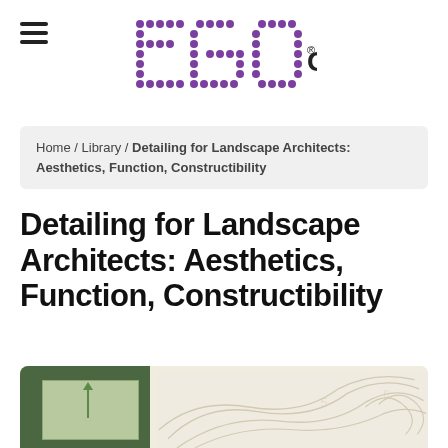EGO GROUP®
Home / Library / Detailing for Landscape Architects: Aesthetics, Function, Constructibility
Detailing for Landscape Architects: Aesthetics, Function, Constructibility
[Figure (illustration): Book cover of Detailing for Landscape Architects showing topographic contour lines on a beige background with a dark green left panel containing a lighter green rectangle with an upward arrow.]